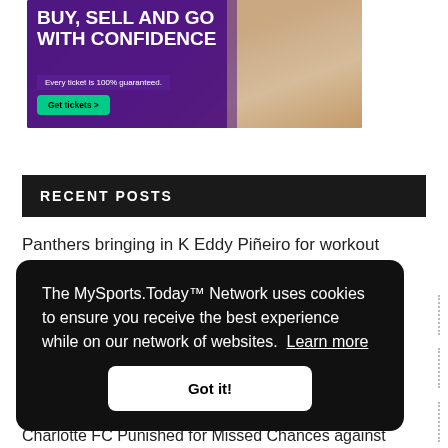[Figure (illustration): Advertisement banner: purple/dark background with bold white text 'BUY, SELL AND GO WITH CONFIDENCE', subtext 'Every ticket is 100% guaranteed.', green 'Get tickets >' button, and a person's image on the right side.]
RECENT POSTS
Panthers bringing in K Eddy Piñeiro for workout on
The MySports.Today™ Network uses cookies to ensure you receive the best experience while on our network of websites. Learn more
Got it!
Charlotte FC Punished for Missed Chances against